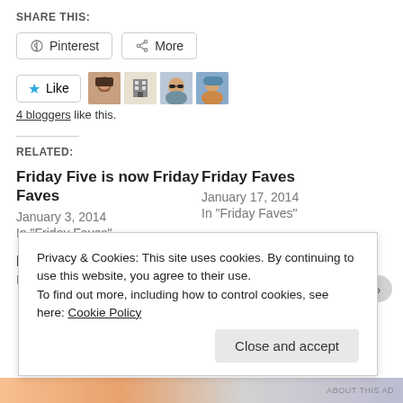SHARE THIS:
[Figure (screenshot): Pinterest and More share buttons]
[Figure (screenshot): Like button with star and 4 blogger avatars]
4 bloggers like this.
RELATED:
Friday Five is now Friday Faves
January 3, 2014
In "Friday Faves"
Friday Faves
January 17, 2014
In "Friday Faves"
Friday Faves
February 14, 2014
Privacy & Cookies: This site uses cookies. By continuing to use this website, you agree to their use.
To find out more, including how to control cookies, see here: Cookie Policy
Close and accept